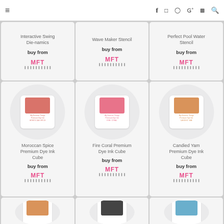Navigation bar with hamburger menu and social icons: Facebook, Instagram, Pinterest, Google+, YouTube, Search
Interactive Swing Die-namics
buy from
MFT
Wave Maker Stencil
buy from
MFT
Perfect Pool Water Stencil
buy from
MFT
[Figure (photo): Moroccan Spice Premium Dye Ink Cube product image - pink-red ink pad in white card with text Moroccan Spice, My Favorite Things Premium Dye Ink]
Moroccan Spice Premium Dye Ink Cube
buy from
MFT
[Figure (photo): Fire Coral Premium Dye Ink Cube product image - pink ink pad in white card with text Fire Coral]
Fire Coral Premium Dye Ink Cube
buy from
MFT
[Figure (photo): Candied Yam Premium Dye Ink Cube product image - orange ink pad in white card with text Candied Yam]
Candied Yam Premium Dye Ink Cube
buy from
MFT
[Figure (photo): Partial view of orange ink pad product at bottom left]
[Figure (photo): Partial view of dark ink pad product at bottom center]
[Figure (photo): Partial view of blue ink pad product at bottom right]